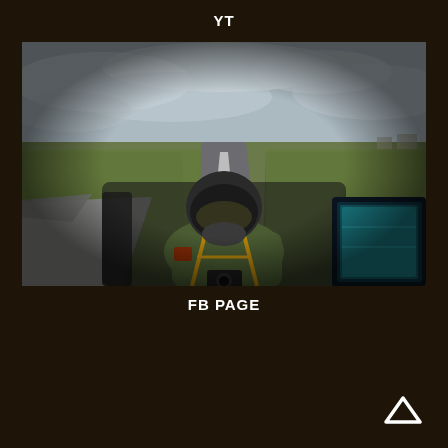YT
[Figure (photo): Fighter jet cockpit view from behind pilot wearing helmet and flight suit, fisheye lens showing runway and airfield below, overcast sky]
FB PAGE